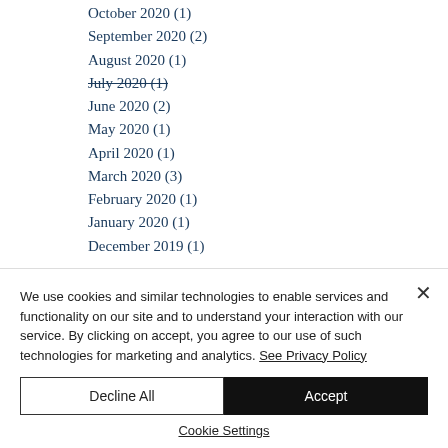October 2020 (1)
September 2020 (2)
August 2020 (1)
July 2020 (1)
June 2020 (2)
May 2020 (1)
April 2020 (1)
March 2020 (3)
February 2020 (1)
January 2020 (1)
December 2019 (1)
We use cookies and similar technologies to enable services and functionality on our site and to understand your interaction with our service. By clicking on accept, you agree to our use of such technologies for marketing and analytics. See Privacy Policy
Decline All | Accept
Cookie Settings